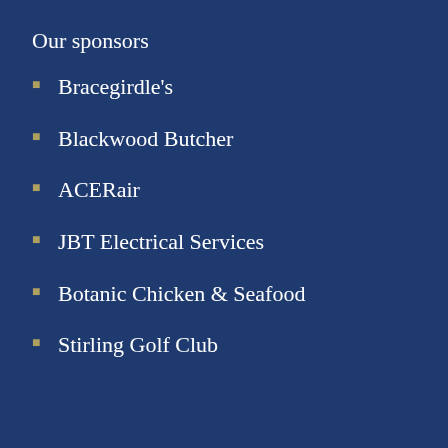Our sponsors
Bracegirdle's
Blackwood Butcher
ACERair
JBT Electrical Services
Botanic Chicken & Seafood
Stirling Golf Club